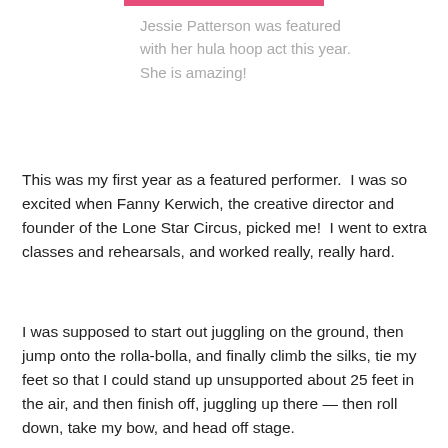Jessie Patterson was featured with her hula hoop act this year. She is amazing!
This was my first year as a featured performer.  I was so excited when Fanny Kerwich, the creative director and founder of the Lone Star Circus, picked me!  I went to extra classes and rehearsals, and worked really, really hard.
I was supposed to start out juggling on the ground, then jump onto the rolla-bolla, and finally climb the silks, tie my feet so that I could stand up unsupported about 25 feet in the air, and then finish off, juggling up there — then roll down, take my bow, and head off stage.
Everything went fine on Friday and Saturday.  My whole